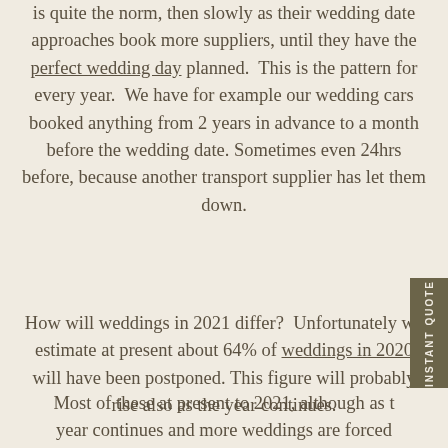is quite the norm, then slowly as their wedding date approaches book more suppliers, until they have the perfect wedding day planned.  This is the pattern for every year.  We have for example our wedding cars booked anything from 2 years in advance to a month before the wedding date.  Sometimes even 24hrs before, because another transport supplier has let them down.
How will weddings in 2021 differ?  Unfortunately we estimate at present about 64% of weddings in 2020 will have been postponed. This figure will probably rise also as the year continues.
Most of these at present to 2021, although as the year continues and more weddings are forced